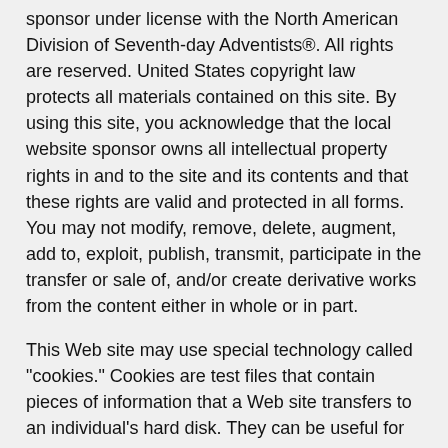sponsor under license with the North American Division of Seventh-day Adventists®. All rights are reserved. United States copyright law protects all materials contained on this site. By using this site, you acknowledge that the local website sponsor owns all intellectual property rights in and to the site and its contents and that these rights are valid and protected in all forms. You may not modify, remove, delete, augment, add to, exploit, publish, transmit, participate in the transfer or sale of, and/or create derivative works from the content either in whole or in part.
This Web site may use special technology called "cookies." Cookies are test files that contain pieces of information that a Web site transfers to an individual's hard disk. They can be useful for record-keeping purposes and help us to tailor our Web site to the interests and needs of our visitors. Cookies may also be used to increase session security. We do not in any way use this information to personally identify individual users.
No one will sell or distribute any information, including your personal or identifying information, which is obtained through your use of this Web site. Neither party is gathering such information, but may obtain such information by your communication directly with the Web site's Webmaster. Any names or information provided